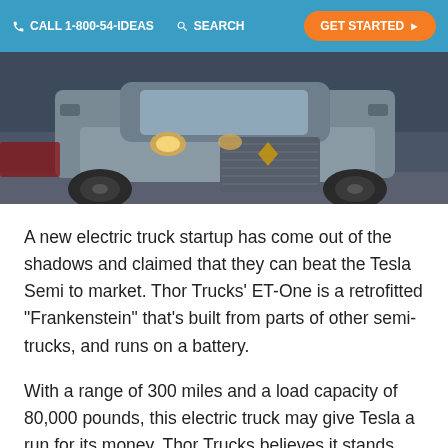CALL 1-800-54-IDEAS   SEARCH   GET STARTED
[Figure (photo): Front view of a futuristic grey electric semi-truck (Thor Trucks ET-One), showing large wheels, headlights, and distinctive grille design against a dark background.]
A new electric truck startup has come out of the shadows and claimed that they can beat the Tesla Semi to market. Thor Trucks’ ET-One is a retrofitted “Frankenstein” that’s built from parts of other semi-trucks, and runs on a battery.
With a range of 300 miles and a load capacity of 80,000 pounds, this electric truck may give Tesla a run for its money. Thor Trucks believes it stands apart in the currently narrow market by converting fossil fuel-burning trucks into battery- electric ones with its unique technology and in-house manufacturing